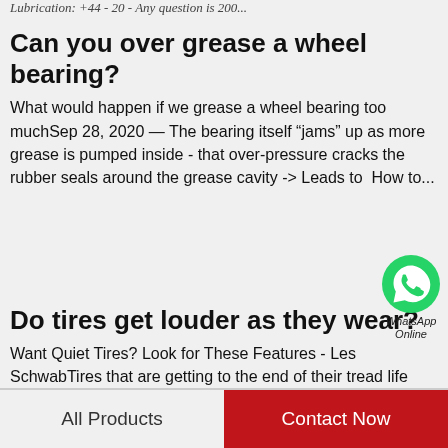Lubrication: +44 - 20 - Any question is 200...
Can you over grease a wheel bearing?
What would happen if we grease a wheel bearing too muchSep 28, 2020 — The bearing itself “jams” up as more grease is pumped inside - that over-pressure cracks the rubber seals around the grease cavity -> Leads to  How to...
[Figure (logo): WhatsApp green phone icon with WhatsApp Online label]
Do tires get louder as they wear?
Want Quiet Tires? Look for These Features - Les SchwabTires that are getting to the end of their tread life may be louder since there's less rubber between the steel belts inside and the road. Unevenly worn tires are likewise noisy: When the tread...
All Products | Contact Now